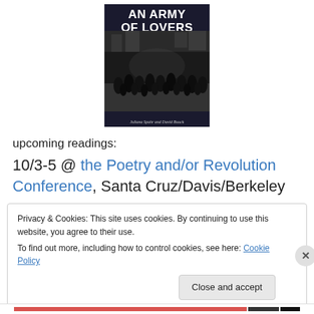[Figure (photo): Book cover for 'An Army of Lovers' by Juliana Spahr and David Buuck. Dark cover showing crowd of people in a street at night, white bold title text at top.]
upcoming readings:
10/3-5 @ the Poetry and/or Revolution Conference, Santa Cruz/Davis/Berkeley
Privacy & Cookies: This site uses cookies. By continuing to use this website, you agree to their use.
To find out more, including how to control cookies, see here: Cookie Policy
Close and accept